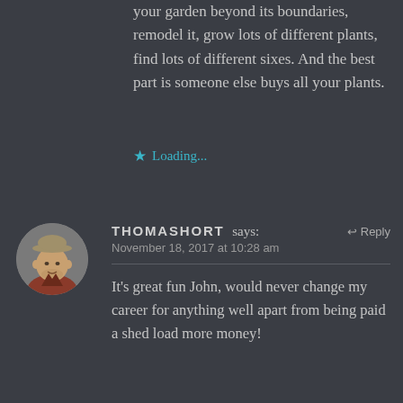your garden beyond its boundaries, remodel it, grow lots of different plants, find lots of different sixes. And the best part is someone else buys all your plants.
★ Loading...
[Figure (photo): Circular avatar photo of Thomas Short, a man wearing a cap outdoors]
THOMASHORT says:  ↩ Reply
November 18, 2017 at 10:28 am
It's great fun John, would never change my career for anything well apart from being paid a shed load more money!